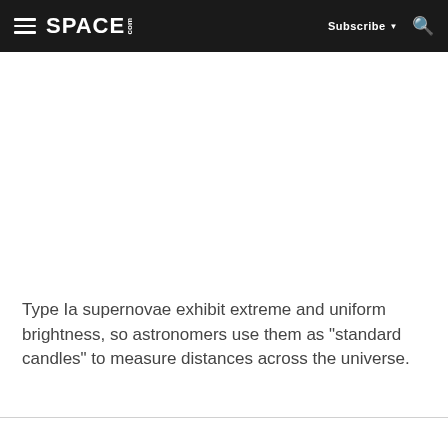SPACE.com | Subscribe | Search
[Figure (other): Advertisement or image placeholder area (white space)]
Type Ia supernovae exhibit extreme and uniform brightness, so astronomers use them as "standard candles" to measure distances across the universe.